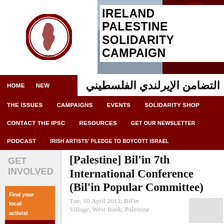[Figure (logo): Ireland Palestine Solidarity Campaign circular logo with map of Palestine, i.p.s.c. text at bottom]
IRELAND PALESTINE SOLIDARITY CAMPAIGN
التضامن الإيرلندي الفلسطيني
HOME | NEWS | THE ISSUES | CAMPAIGNS | EVENTS | SOLIDARITY SHOP | CONTACT THE IPSC | RESOURCES | GET OUR NEWSLETTER | PODCAST | IRISH ARTISTS' PLEDGE TO BOYCOTT ISRAEL
GET INVOLVED
Find your local activist group →
Subscribe
[Palestine] Bil'in 7th International Conference (Bil'in Popular Committee)
Tue, 10 April 2012, Bil'in Village, West Bank, Palestine